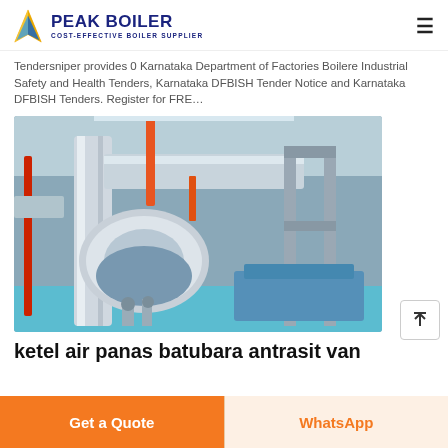PEAK BOILER - COST-EFFECTIVE BOILER SUPPLIER
Tendersniper provides 0 Karnataka Department of Factories Boilere Industrial Safety and Health Tenders, Karnataka DFBISH Tender Notice and Karnataka DFBISH Tenders. Register for FRE…
[Figure (photo): Industrial boiler room interior showing large insulated pipes, ductwork, and boiler equipment in a modern facility with blue floor.]
ketel air panas batubara antrasit van
Get a Quote
WhatsApp